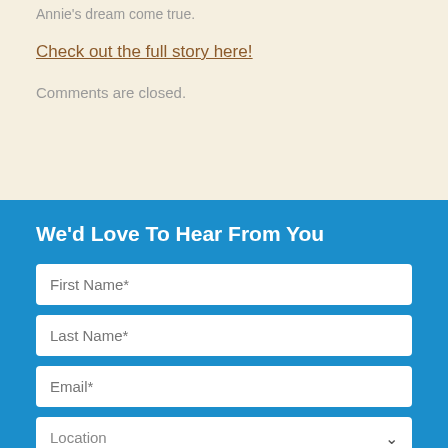Annie's dream come true.
Check out the full story here!
Comments are closed.
We'd Love To Hear From You
First Name*
Last Name*
Email*
Location
Interested In...